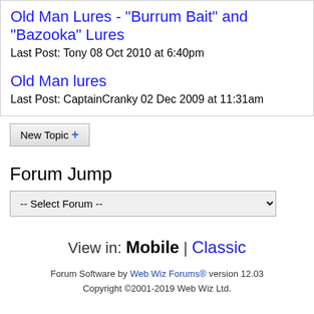Old Man Lures - "Burrum Bait" and "Bazooka" Lures
Last Post: Tony 08 Oct 2010 at 6:40pm
Old Man lures
Last Post: CaptainCranky 02 Dec 2009 at 11:31am
New Topic +
Forum Jump
-- Select Forum --
View in: Mobile | Classic
Forum Software by Web Wiz Forums® version 12.03
Copyright ©2001-2019 Web Wiz Ltd.